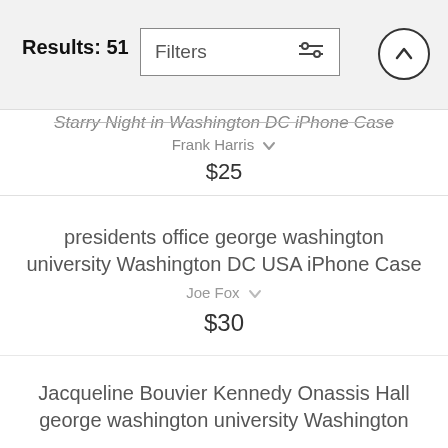Results: 51
Starry Night in Washington DC iPhone Case
Frank Harris
$25
presidents office george washington university Washington DC USA iPhone Case
Joe Fox
$30
Jacqueline Bouvier Kennedy Onassis Hall george washington university Washington